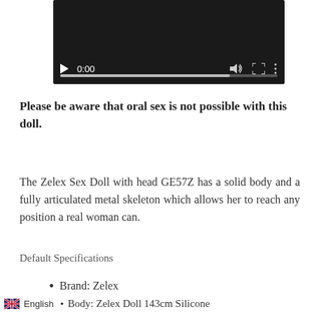[Figure (screenshot): Video player screenshot showing a dark/black video player with controls: play button, time display 0:00, speaker icon, fullscreen icon, and a three-dot menu. A progress bar is visible at the bottom.]
Please be aware that oral sex is not possible with this doll.
The Zelex Sex Doll with head GE57Z has a solid body and a fully articulated metal skeleton which allows her to reach any position a real woman can.
Default Specifications
Brand: Zelex
Body: Zelex Doll 143cm Silicone